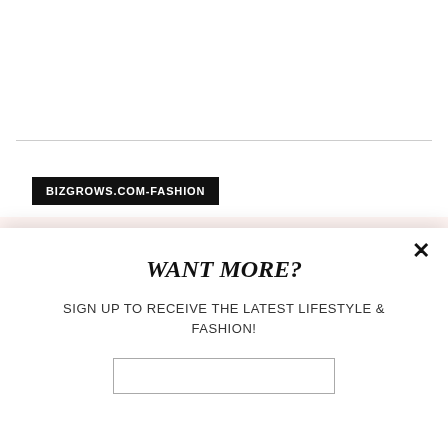BIZGROWS.COM-FASHION
HOW MUCH ROBERT DOWNEY JR WAS PAID FOR AVENGERS
WANT MORE?
SIGN UP TO RECEIVE THE LATEST LIFESTYLE & FASHION!